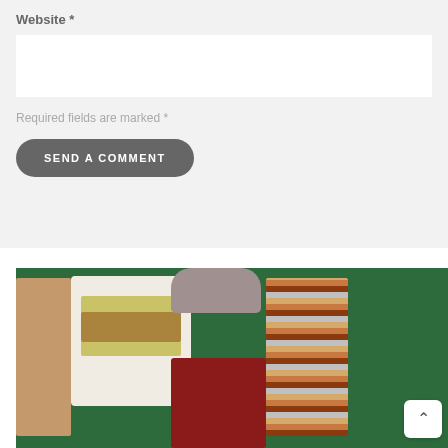Website *
Required fields are marked *
SEND A COMMENT
[Figure (photo): Flat lay of clothing items on a green background: tan drawstring pants on left, a folded fair isle sweater with diamond pattern in white/gold/brown, grey slippers at top, dark red/maroon sweatpants in center, and a striped shirt in rust/tan/grey tones on the right.]